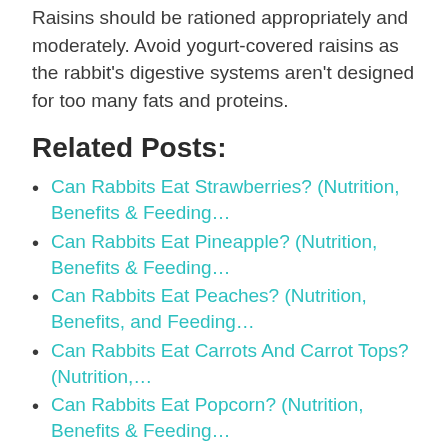Raisins should be rationed appropriately and moderately. Avoid yogurt-covered raisins as the rabbit's digestive systems aren't designed for too many fats and proteins.
Related Posts:
Can Rabbits Eat Strawberries? (Nutrition, Benefits & Feeding…
Can Rabbits Eat Pineapple? (Nutrition, Benefits & Feeding…
Can Rabbits Eat Peaches? (Nutrition, Benefits, and Feeding…
Can Rabbits Eat Carrots And Carrot Tops? (Nutrition,…
Can Rabbits Eat Popcorn? (Nutrition, Benefits & Feeding…